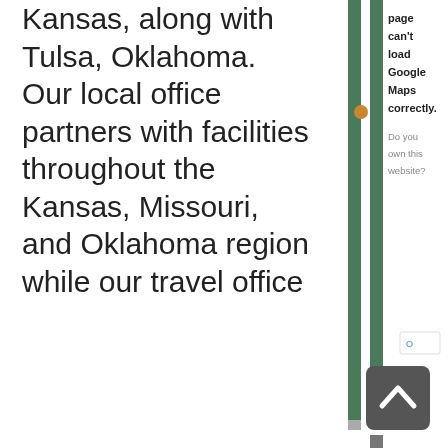Kansas, along with Tulsa, Oklahoma. Our local office partners with facilities throughout the Kansas, Missouri, and Oklahoma region while our travel office
[Figure (screenshot): Partial Google Maps embed showing a vertical map strip with an error message: 'This page can't load Google Maps correctly.' and a prompt 'Do you own this website?' A back-to-top button (dark gray with up arrow) appears at bottom right.]